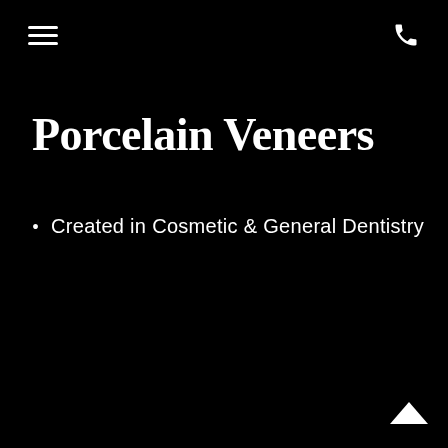≡  ☎
Porcelain Veneers
Created in Cosmetic & General Dentistry